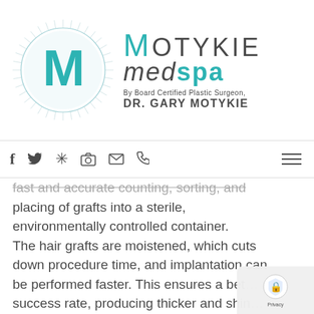[Figure (logo): Motykie MedSpa logo with circular M icon, text 'MOTYKIE medspa By Board Certified Plastic Surgeon, DR. GARY MOTYKIE']
fast and accurate counting, sorting, and placing of grafts into a sterile, environmentally controlled container. The hair grafts are moistened, which cuts down procedure time, and implantation can be performed faster. This ensures a better success rate, producing thicker and shinier hair. SmartGraft procedure does not